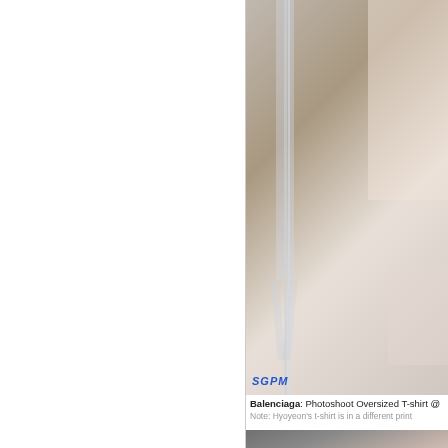[Figure (photo): Partial photo showing what appears to be a chair with transparent/clear legs against a light background, with a watermark reading 'SGPM' in blue italic text at the bottom left]
Balenciaga: Photoshoot Oversized T-shirt @
Note: Hyoyeon's t-shirt is in a different print
[Figure (photo): Photo of a woman with shoulder-length blonde/light brown hair wearing an off-shoulder light pink/beige knit sweater, posed against a gray background]